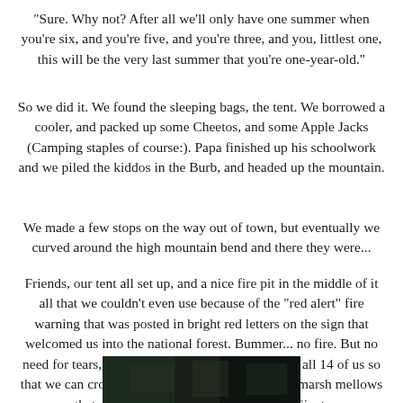"Sure. Why not? After all we'll only have one summer when you're six, and you're five, and you're three, and you, littlest one, this will be the very last summer that you're one-year-old."
So we did it. We found the sleeping bags, the tent. We borrowed a cooler, and packed up some Cheetos, and some Apple Jacks (Camping staples of course:). Papa finished up his schoolwork and we piled the kiddos in the Burb, and headed up the mountain.
We made a few stops on the way out of town, but eventually we curved around the high mountain bend and there they were...
Friends, our tent all set up, and a nice fire pit in the middle of it all that we couldn't even use because of the "red alert" fire warning that was posted in bright red letters on the sign that welcomed us into the national forest. Bummer... no fire. But no need for tears, all we need is a camper that'll hold all 14 of us so that we can crowd around the gas stove and roast marsh mellows that are big enough for the Jolly Green Giant.
[Figure (photo): Partial photo strip at bottom of page showing a dark outdoor scene, likely a camping photograph.]